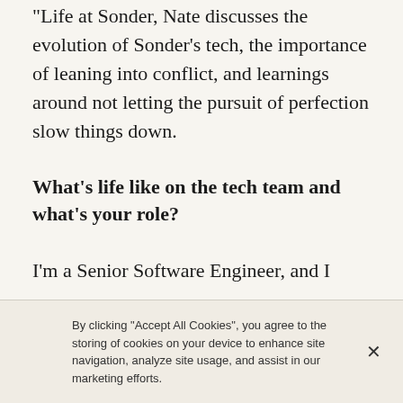“Life at Sonder,” Nate discusses the evolution of Sonder’s tech, the importance of leaning into conflict, and learnings around not letting the pursuit of perfection slow things down.
What’s life like on the tech team and what’s your role?
I’m a Senior Software Engineer, and I
By clicking “Accept All Cookies”, you agree to the storing of cookies on your device to enhance site navigation, analyze site usage, and assist in our marketing efforts.